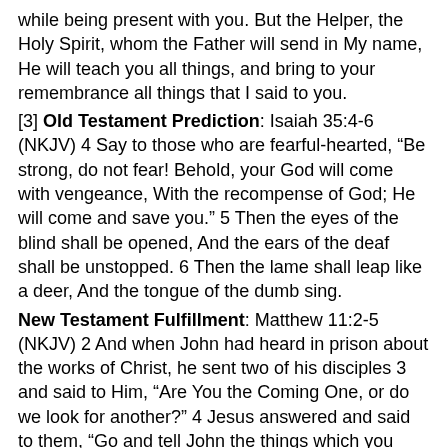while being present with you. But the Helper, the Holy Spirit, whom the Father will send in My name, He will teach you all things, and bring to your remembrance all things that I said to you.
[3] Old Testament Prediction: Isaiah 35:4-6 (NKJV) 4 Say to those who are fearful-hearted, “Be strong, do not fear! Behold, your God will come with vengeance, With the recompense of God; He will come and save you.” 5 Then the eyes of the blind shall be opened, And the ears of the deaf shall be unstopped. 6 Then the lame shall leap like a deer, And the tongue of the dumb sing.
New Testament Fulfillment: Matthew 11:2-5 (NKJV) 2 And when John had heard in prison about the works of Christ, he sent two of his disciples 3 and said to Him, “Are You the Coming One, or do we look for another?” 4 Jesus answered and said to them, “Go and tell John the things which you hear and see: 5 The blind see and the lame walk; the lepers are cleansed and the deaf hear; the dead are raised up and the poor have the gospel preached to them.
[4] According to Guinness Word Records: more than 5 billion Bibles, with an equal number of other books, written by multiple authors, during the last 2,000 years.
http://www.guinnessworldrecords.com/world-records/best-